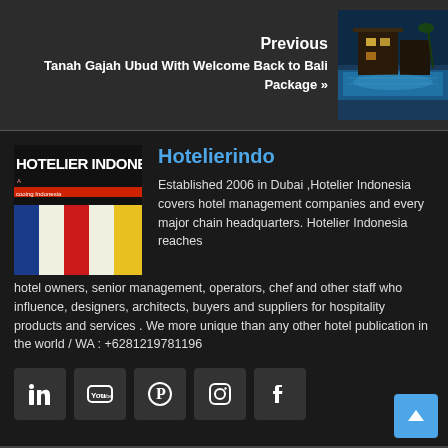Previous
Tanah Gajah Ubud With Welcome Back to Bali Package »
[Figure (photo): Photo of a luxury pool villa at night with blue lighting]
[Figure (logo): Hotelier Indonesia magazine logo with colored stripes]
Hotelierindo
Established 2006 in Dubai ,Hotelier Indonesia covers hotel management companies and every major chain headquarters. Hotelier Indonesia reaches hotel owners, senior management, operators, chef and other staff who influence, designers, architects, buyers and suppliers for hospitality products and services . We more unique than any other hotel publication in the world / WA : +6281219781196
[Figure (infographic): Row of social media icons: LinkedIn, YouTube, Pinterest, Instagram, Facebook]